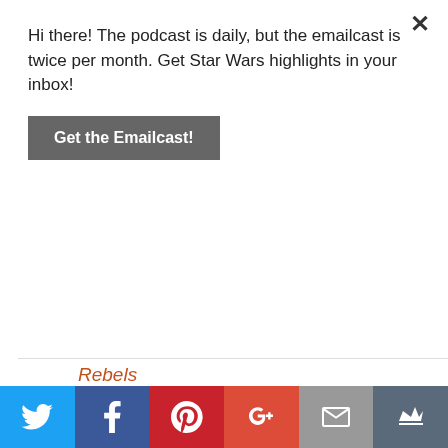Hi there! The podcast is daily, but the emailcast is twice per month. Get Star Wars highlights in your inbox!
Get the Emailcast!
Rebels (partial, cut off)
Resistance
Tales of the Jedi
The Bad Batch
Visions
Audiobooks
Children's Books
Comics
Galaxy's Edge
Games